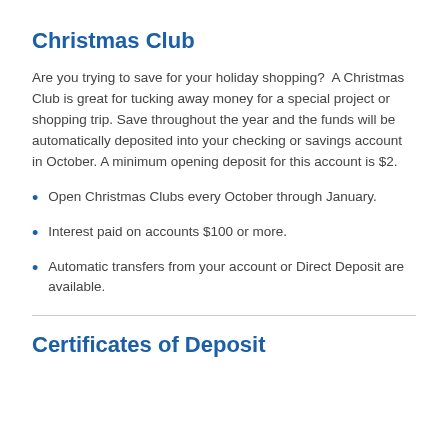Christmas Club
Are you trying to save for your holiday shopping?  A Christmas Club is great for tucking away money for a special project or shopping trip. Save throughout the year and the funds will be automatically deposited into your checking or savings account in October. A minimum opening deposit for this account is $2.
Open Christmas Clubs every October through January.
Interest paid on accounts $100 or more.
Automatic transfers from your account or Direct Deposit are available.
Certificates of Deposit